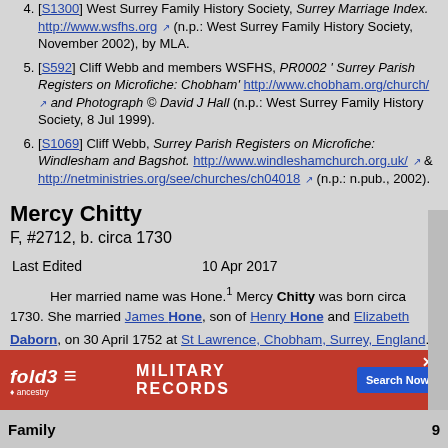[S1300] West Surrey Family History Society, Surrey Marriage Index. http://www.wsfhs.org (n.p.: West Surrey Family History Society, November 2002), by MLA.
[S592] Cliff Webb and members WSFHS, PR0002 ' Surrey Parish Registers on Microfiche: Chobham' http://www.chobham.org/church/ and Photograph © David J Hall (n.p.: West Surrey Family History Society, 8 Jul 1999).
[S1069] Cliff Webb, Surrey Parish Registers on Microfiche: Windlesham and Bagshot. http://www.windleshamchurch.org.uk/ & http://netministries.org/see/churches/ch04018 (n.p.: n.pub., 2002).
Mercy Chitty
F, #2712, b. circa 1730
| Last Edited | 10 Apr 2017 |
| --- | --- |
Her married name was Hone.1 Mercy Chitty was born circa 1730. She married James Hone, son of Henry Hone and Elizabeth Daborn, on 30 April 1752 at St Lawrence, Chobham, Surrey, England.1
Family
[Figure (other): Advertisement banner for fold3 Military Records by Ancestry with Search Now button]